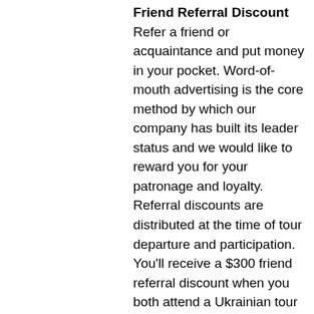Friend Referral Discount Refer a friend or acquaintance and put money in your pocket. Word-of-mouth advertising is the core method by which our company has built its leader status and we would like to reward you for your patronage and loyalty. Referral discounts are distributed at the time of tour departure and participation. You'll receive a $300 friend referral discount when you both attend a Ukrainian tour and a $100 friend referral discount when you both attend an Asian or Latin tour. Friend referral discounts apply when your referred friends are new clients only.
If you would like to reserve your place on a Singles tour or at a